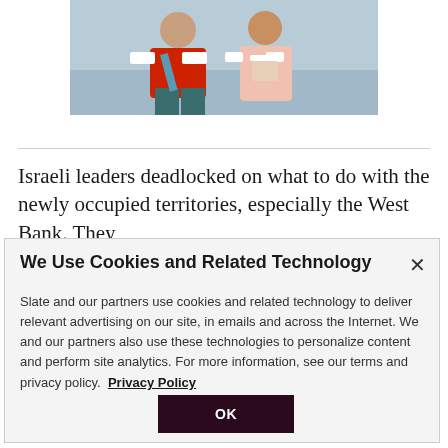[Figure (photo): Two people posing together, one wearing a red varsity jacket and the other in a pink outfit, seated outdoors near water]
Israeli leaders deadlocked on what to do with the newly occupied territories, especially the West Bank. They
We Use Cookies and Related Technology

Slate and our partners use cookies and related technology to deliver relevant advertising on our site, in emails and across the Internet. We and our partners also use these technologies to personalize content and perform site analytics. For more information, see our terms and privacy policy.  Privacy Policy

OK